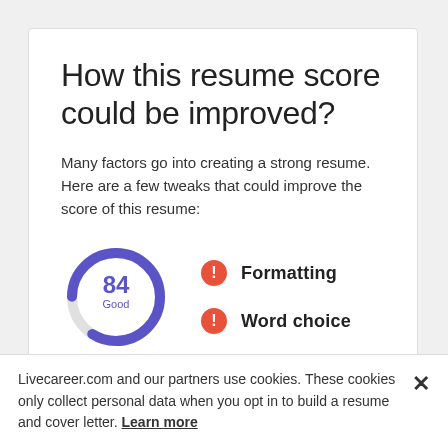How this resume score could be improved?
Many factors go into creating a strong resume. Here are a few tweaks that could improve the score of this resume:
[Figure (donut-chart): Donut chart showing score of 84 labeled 'Good']
Formatting
Word choice
Livecareer.com and our partners use cookies. These cookies only collect personal data when you opt in to build a resume and cover letter. Learn more